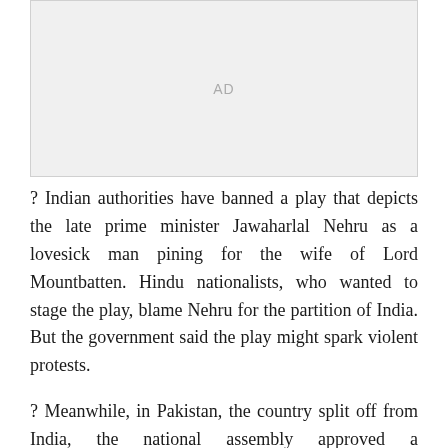[Figure (other): Advertisement placeholder box with 'AD' label]
? Indian authorities have banned a play that depicts the late prime minister Jawaharlal Nehru as a lovesick man pining for the wife of Lord Mountbatten. Hindu nationalists, who wanted to stage the play, blame Nehru for the partition of India. But the government said the play might spark violent protests.
? Meanwhile, in Pakistan, the country split off from India, the national assembly approved a constitutional amendment obliging the federal government to enforce prayers five times daily and to collect religious tithes.
? Actor Christopher Reeve, paralyzed in a horse accident, wants to walk again, and he's become an advocate of stem-based research. The advancement is...